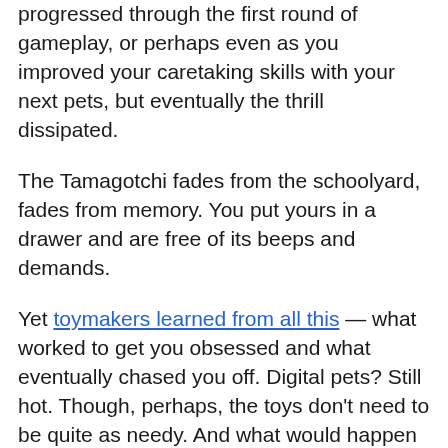progressed through the first round of gameplay, or perhaps even as you improved your caretaking skills with your next pets, but eventually the thrill dissipated.
The Tamagotchi fades from the schoolyard, fades from memory. You put yours in a drawer and are free of its beeps and demands.
Yet toymakers learned from all this — what worked to get you obsessed and what eventually chased you off. Digital pets? Still hot. Though, perhaps, the toys don't need to be quite as needy. And what would happen if that faux pet weren't made of hard plastic but, rather, were as soft as a stuffed animal? Toymakers iterate.